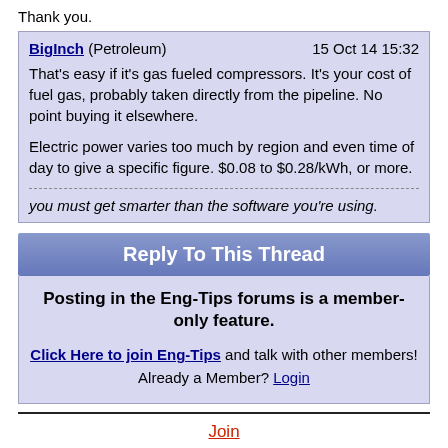Thank you.
BigInch (Petroleum) 15 Oct 14 15:32
That's easy if it's gas fueled compressors. It's your cost of fuel gas, probably taken directly from the pipeline. No point buying it elsewhere.

Electric power varies too much by region and even time of day to give a specific figure. $0.08 to $0.28/kWh, or more.

you must get smarter than the software you're using.
Reply To This Thread
Posting in the Eng-Tips forums is a member-only feature.

Click Here to join Eng-Tips and talk with other members! Already a Member? Login
Join
Advertise
Copyright © 1998-2022 engineering.com, Inc. All rights